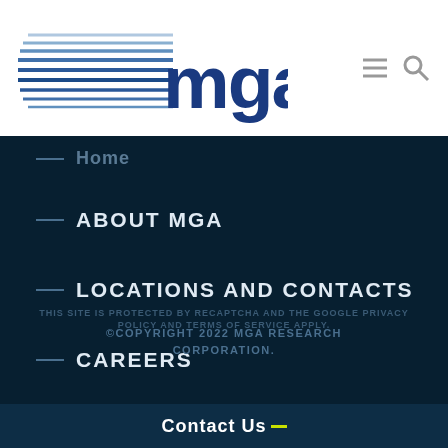[Figure (logo): MGA Research Corporation logo with horizontal speed lines on the left and bold 'mga' text in blue]
ABOUT MGA
LOCATIONS AND CONTACTS
CAREERS
©COPYRIGHT 2022 MGA RESEARCH CORPORATION.
THIS SITE IS PROTECTED BY RECAPTCHA AND THE GOOGLE PRIVACY POLICY AND TERMS OF SERVICE APPLY.
Contact Us
Contact Us